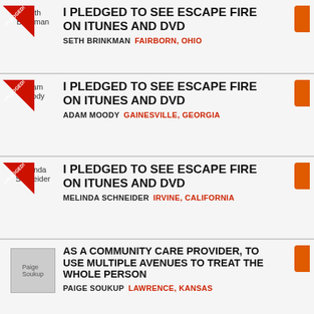Seth Brinkman — I PLEDGED TO SEE ESCAPE FIRE ON ITUNES AND DVD — SETH BRINKMAN FAIRBORN, OHIO
Adam Moody — I PLEDGED TO SEE ESCAPE FIRE ON ITUNES AND DVD — ADAM MOODY GAINESVILLE, GEORGIA
Melinda Schneider — I PLEDGED TO SEE ESCAPE FIRE ON ITUNES AND DVD — MELINDA SCHNEIDER IRVINE, CALIFORNIA
Paige Soukup — AS A COMMUNITY CARE PROVIDER, TO USE MULTIPLE AVENUES TO TREAT THE WHOLE PERSON — PAIGE SOUKUP LAWRENCE, KANSAS
Nicholas Bromley — CREATING A HEALTHIER ENVIRONMENT THROUGH EDUCATION